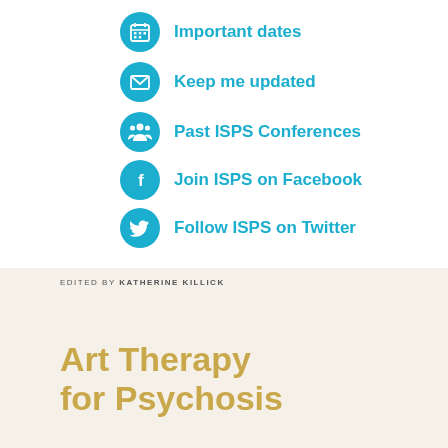Important dates
Keep me updated
Past ISPS Conferences
Join ISPS on Facebook
Follow ISPS on Twitter
EDITED BY KATHERINE KILLICK
Art Therapy for Psychosis